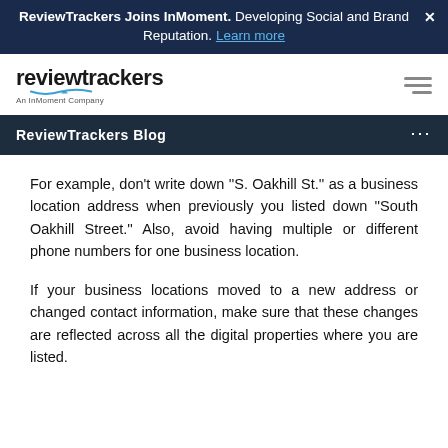ReviewTrackers Joins InMoment. Developing Social and Brand Reputation. Learn more
[Figure (logo): ReviewTrackers logo with 'An InMoment Company' tagline and blue speech-bubble underline graphic]
ReviewTrackers Blog
For example, don't write down ''S. Oakhill St.'' as a business location address when previously you listed down ''South Oakhill Street.'' Also, avoid having multiple or different phone numbers for one business location.
If your business locations moved to a new address or changed contact information, make sure that these changes are reflected across all the digital properties where you are listed.